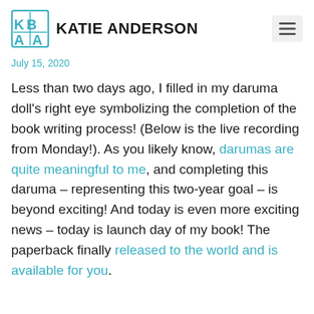KATIE ANDERSON
July 15, 2020
Less than two days ago, I filled in my daruma doll's right eye symbolizing the completion of the book writing process! (Below is the live recording from Monday!). As you likely know, darumas are quite meaningful to me, and completing this daruma – representing this two-year goal – is beyond exciting! And today is even more exciting news – today is launch day of my book! The paperback finally released to the world and is available for you.